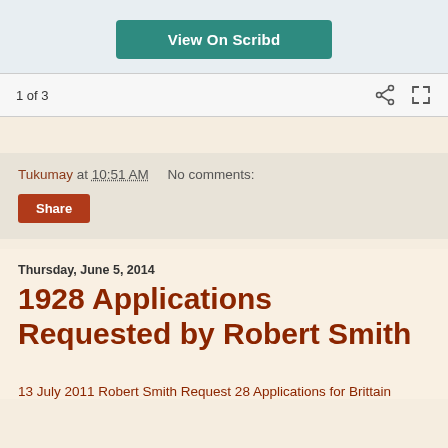[Figure (screenshot): View On Scribd button on light blue-gray background]
1 of 3
Tukumay at 10:51 AM   No comments:
Share
Thursday, June 5, 2014
1928 Applications Requested by Robert Smith
13 July 2011 Robert Smith Request 28 Applications for Brittain